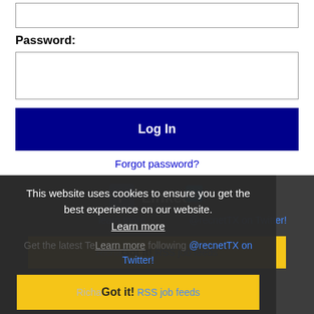Password:
Log In
Forgot password?
[Figure (screenshot): Cookie consent overlay on dark background with social media icons (Facebook, LinkedIn), cookie notice text, Learn more link, Twitter follow text, and Got it! button]
This website uses cookies to ensure you get the best experience on our website.
Get the latest Texas jobs following @recnetTX on Twitter!
Got it!